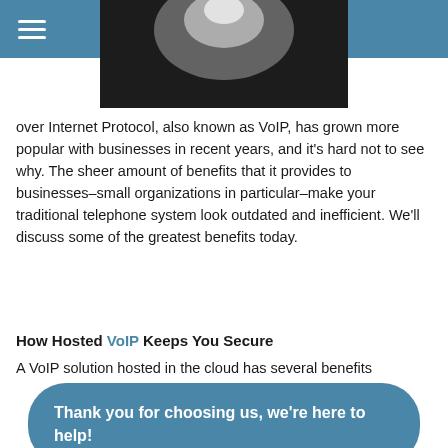[Figure (photo): Partial image of a dark background with a circular/elliptical lighter shape, cropped at top]
over Internet Protocol, also known as VoIP, has grown more popular with businesses in recent years, and it's hard not to see why. The sheer amount of benefits that it provides to businesses–small organizations in particular–make your traditional telephone system look outdated and inefficient. We'll discuss some of the greatest benefits today.
How Hosted VoIP Keeps You Secure
A VoIP solution hosted in the cloud has several benefits
Thank you for choosing us, we're here to help!
Expert technicians on-hand: Maintenance is critical for a system like VoIP, especially in regard to security. If you host it in-house, you